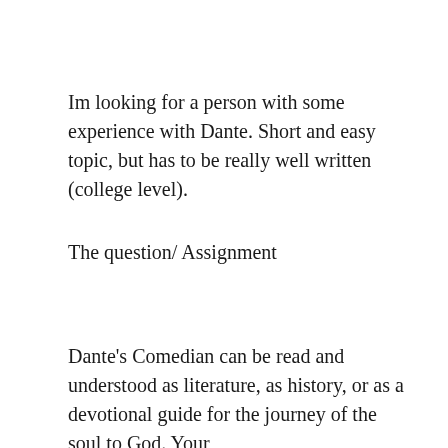Im looking for a person with some experience with Dante. Short and easy topic, but has to be really well written (college level).
The question/ Assignment
Dante's Comedian can be read and understood as literature, as history, or as a devotional guide for the journey of the soul to God. Your